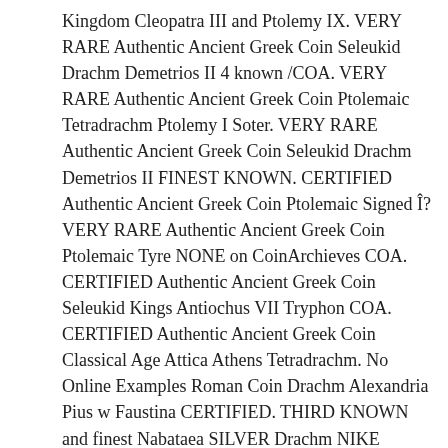Kingdom Cleopatra III and Ptolemy IX. VERY RARE Authentic Ancient Greek Coin Seleukid Drachm Demetrios II 4 known /COA. VERY RARE Authentic Ancient Greek Coin Ptolemaic Tetradrachm Ptolemy I Soter. VERY RARE Authentic Ancient Greek Coin Seleukid Drachm Demetrios II FINEST KNOWN. CERTIFIED Authentic Ancient Greek Coin Ptolemaic Signed Î? VERY RARE Authentic Ancient Greek Coin Ptolemaic Tyre NONE on CoinArchieves COA. CERTIFIED Authentic Ancient Greek Coin Seleukid Kings Antiochus VII Tryphon COA. CERTIFIED Authentic Ancient Greek Coin Classical Age Attica Athens Tetradrachm. No Online Examples Roman Coin Drachm Alexandria Pius w Faustina CERTIFIED. THIRD KNOWN and finest Nabataea SILVER Drachm NIKE Authentic Ancient Greek Coin. CHOICE Authentic Ancient Coin Ptolemy IV Philopator 225-205 BC Triobol 35mm COA. CERTIFIED Authentic Ancient Greek Coin Seleukid Kings Antiochus VII GEM QUALITY. CERTIFIED Authentic Ancient Greek Coin Ptolemaic Tetradrachm Tyre GEM!!